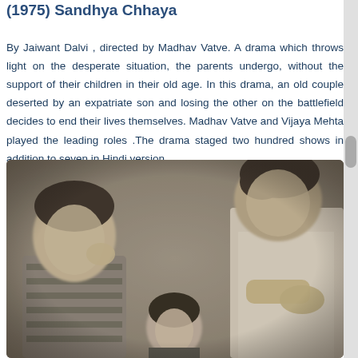(1975) Sandhya Chhaya
By Jaiwant Dalvi , directed by Madhav Vatve. A drama which throws light on the desperate situation, the parents undergo, without the support of their children in their old age. In this drama, an old couple deserted by an expatriate son and losing the other on the battlefield decides to end their lives themselves. Madhav Vatve and Vijaya Mehta played the leading roles .The drama staged two hundred shows in addition to seven in Hindi version.
[Figure (photo): Black and white photograph showing three people in what appears to be a theatrical or informal setting. On the left is a person with short hair wearing a striped top, in the center is a woman, and on the right is a taller person leaning forward.]